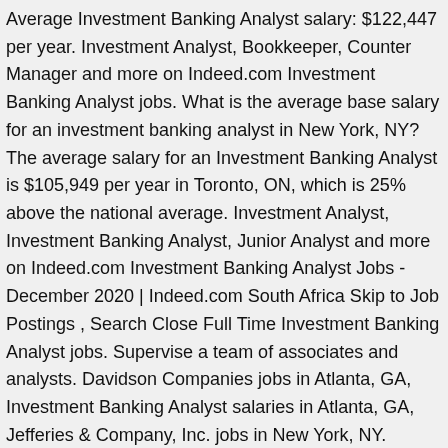Average Investment Banking Analyst salary: $122,447 per year. Investment Analyst, Bookkeeper, Counter Manager and more on Indeed.com Investment Banking Analyst jobs. What is the average base salary for an investment banking analyst in New York, NY? The average salary for an Investment Banking Analyst is $105,949 per year in Toronto, ON, which is 25% above the national average. Investment Analyst, Investment Banking Analyst, Junior Analyst and more on Indeed.com Investment Banking Analyst Jobs - December 2020 | Indeed.com South Africa Skip to Job Postings , Search Close Full Time Investment Banking Analyst jobs. Supervise a team of associates and analysts. Davidson Companies jobs in Atlanta, GA, Investment Banking Analyst salaries in Atlanta, GA, Jefferies & Company, Inc. jobs in New York, NY. London: 36 Investment Banking Analyst jobs available on Indeed.com, updated hourly. 23 Investment Banking Analyst jobs available in Dublin on Indeed.com, updated hourly. ... UK Investment Banking Analyst. Tip: Enter your city or pincode in the 'where' box to show results in your area. Salary